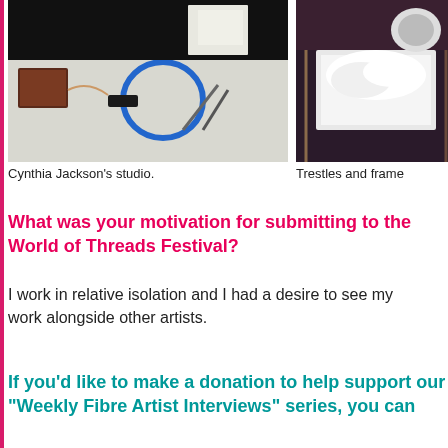[Figure (photo): Cynthia Jackson's studio showing an embroidery hoop, tools, and materials on a white table]
[Figure (photo): Trestles and frames in a workspace with white fabric/material visible]
Cynthia Jackson's studio.
Trestles and frame
What was your motivation for submitting to the World of Threads Festival?
I work in relative isolation and I had a desire to see my work alongside other artists.
If you'd like to make a donation to help support our "Weekly Fibre Artist Interviews" series, you can